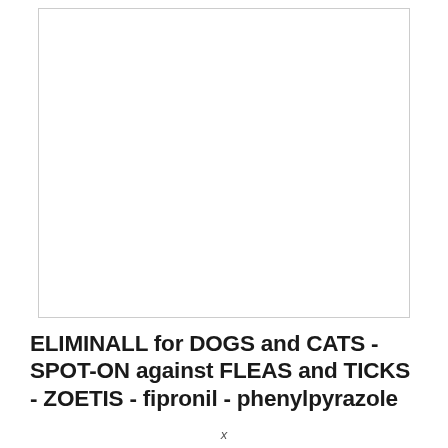[Figure (other): Blank white image box with thin border, representing a product image placeholder]
ELIMINALL for DOGS and CATS - SPOT-ON against FLEAS and TICKS - ZOETIS - fipronil - phenylpyrazole